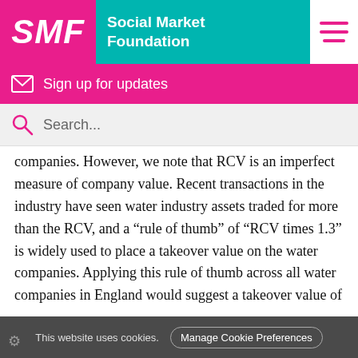[Figure (logo): SMF Social Market Foundation logo with pink SMF block and teal text block]
Sign up for updates
Search...
companies. However, we note that RCV is an imperfect measure of company value. Recent transactions in the industry have seen water industry assets traded for more than the RCV, and a “rule of thumb” of “RCV times 1.3” is widely used to place a takeover value on the water companies. Applying this rule of thumb across all water companies in England would suggest a takeover value of £83bn associated with acquiring the
This website uses cookies. Manage Cookie Preferences